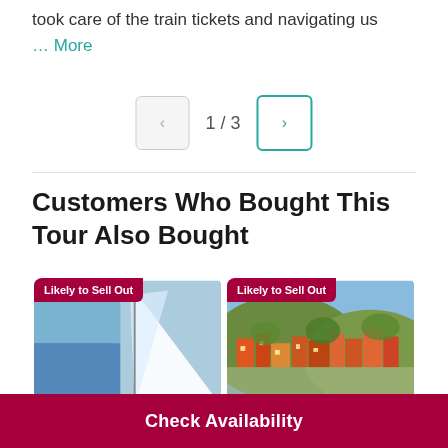took care of the train tickets and navigating us
… More
1 / 3
Customers Who Bought This Tour Also Bought
[Figure (photo): Sailboat sail against blue sky]
Likely to Sell Out
[Figure (photo): Colorful hillside village, Cinque Terre style]
Likely to Sell Out
Check Availability